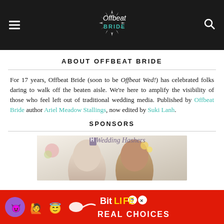Offbeat Bride (navigation header)
ABOUT OFFBEAT BRIDE
For 17 years, Offbeat Bride (soon to be Offbeat Wed!) has celebrated folks daring to walk off the beaten aisle. We're here to amplify the visibility of those who feel left out of traditional wedding media. Published by Offbeat Bride author Ariel Meadow Stallings, now edited by Suki Lanh.
SPONSORS
[Figure (photo): Wedding Hashers sponsor advertisement showing two women smiling with flowers, with the Wedding Hashers logo at top]
[Figure (photo): BitLife mobile game advertisement banner with emoji characters and text 'REAL CHOICES' on red background]